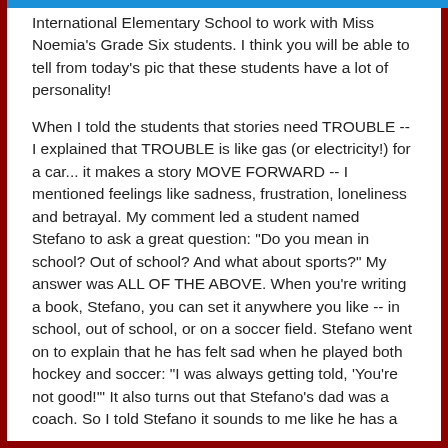International Elementary School to work with Miss Noemia's Grade Six students. I think you will be able to tell from today's pic that these students have a lot of personality!
When I told the students that stories need TROUBLE -- I explained that TROUBLE is like gas (or electricity!) for a car... it makes a story MOVE FORWARD -- I mentioned feelings like sadness, frustration, loneliness and betrayal. My comment led a student named Stefano to ask a great question: "Do you mean in school? Out of school? And what about sports?" My answer was ALL OF THE ABOVE. When you're writing a book, Stefano, you can set it anywhere you like -- in school, out of school, or on a soccer field. Stefano went on to explain that he has felt sad when he played both hockey and soccer: "I was always getting told, 'You're not good!'" It also turns out that Stefano's dad was a coach. So I told Stefano it sounds to me like he has a GREAT STORY to work with -- especially because publishers are really interested in